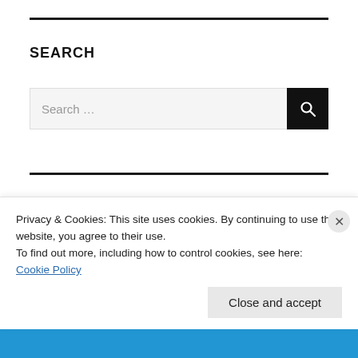SEARCH
[Figure (screenshot): Search input box with magnifying glass button on dark background]
ARCHIVES
May 2021
Privacy & Cookies: This site uses cookies. By continuing to use this website, you agree to their use.
To find out more, including how to control cookies, see here:
Cookie Policy
Close and accept